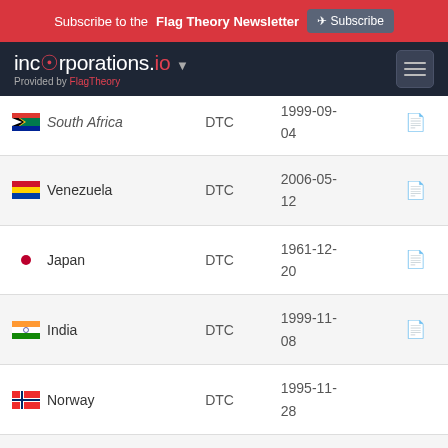Subscribe to the Flag Theory Newsletter  Subscribe
incorporations.io  Provided by FlagTheory
| Country | Type | Date |  |
| --- | --- | --- | --- |
| South Africa | DTC | 1999-09-04 | pdf |
| Venezuela | DTC | 2006-05-12 | pdf |
| Japan | DTC | 1961-12-20 | pdf |
| India | DTC | 1999-11-08 | pdf |
| Norway | DTC | 1995-11-28 |  |
| Uzbekistan | DTC | 2000-06-14 | pdf |